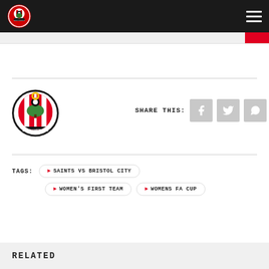Southampton FC navigation bar with logo and hamburger menu
[Figure (logo): Southampton FC crest logo - circular badge with red/white stripes, tree, football]
SHARE THIS:
TAGS: ▶ SAINTS VS BRISTOL CITY
▶ WOMEN'S FIRST TEAM
▶ WOMENS FA CUP
RELATED